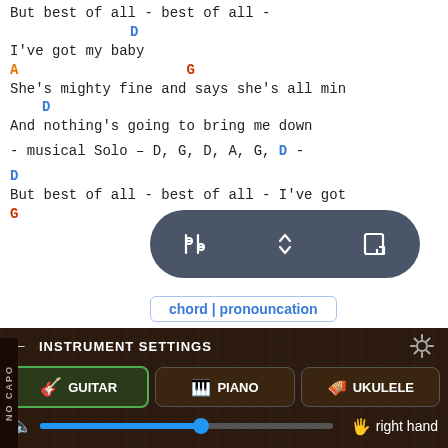But best of all - best of all -
D
I've got my baby
A                         G
She's mighty fine and says she's all min
D
And nothing's going to bring me down
- musical Solo – D, G, D, A, G, D -
D
But best of all - best of all - I've got
G
[Figure (screenshot): Dark rounded rectangle toolbar with three icons: sliders/settings, up-down arrows, and resize/scroll icon, all in white on dark gray background]
chord | pronouncation
[Figure (screenshot): Bottom instrument settings panel with dark wood texture background showing Guitar (selected/active with green border), Piano, and Ukulele buttons, a volume slider with blue fill, right hand label, NO CAPO vertical label, settings gear icon, and back arrow]
She's mighty fine and says she's all min